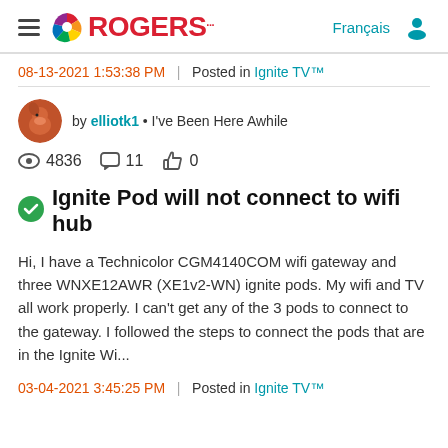Rogers community forum header with hamburger menu, Rogers logo, Français link, and user icon
08-13-2021 1:53:38 PM  |  Posted in Ignite TV™
by elliotk1 • I've Been Here Awhile
4836  11  0
Ignite Pod will not connect to wifi hub
Hi, I have a Technicolor CGM4140COM wifi gateway and three WNXE12AWR (XE1v2-WN) ignite pods. My wifi and TV all work properly. I can't get any of the 3 pods to connect to the gateway. I followed the steps to connect the pods that are in the Ignite Wi...
03-04-2021 3:45:25 PM  |  Posted in Ignite TV™